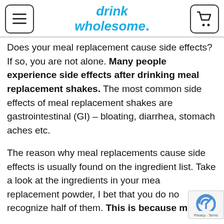drink wholesome.
Does your meal replacement cause side effects? If so, you are not alone. Many people experience side effects after drinking meal replacement shakes. The most common side effects of meal replacement shakes are gastrointestinal (GI) – bloating, diarrhea, stomach aches etc.
The reason why meal replacements cause side effects is usually found on the ingredient list. Take a look at the ingredients in your meal replacement powder, I bet that you do not recognize half of them. This is because most